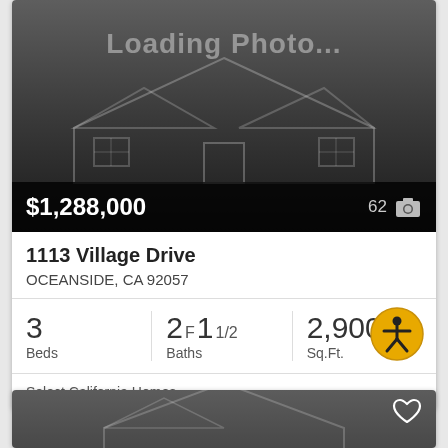[Figure (photo): Loading photo placeholder with house outline silhouette on dark background]
$1,288,000
62 📷
1113 Village Drive
OCEANSIDE, CA 92057
[Figure (illustration): Accessibility icon - person in circle with gold/yellow background]
3
Beds
2F 1 1/2
Baths
2,900
Sq.Ft.
Select California Homes
[Figure (photo): Second listing photo placeholder - dark gray background with house outline and heart icon]